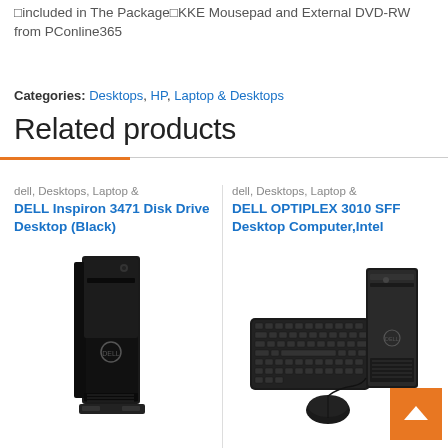included in The Package KKE Mousepad and External DVD-RW from PConline365
Categories: Desktops, HP, Laptop & Desktops
Related products
dell, Desktops, Laptop &
DELL Inspiron 3471 Disk Drive Desktop (Black)
[Figure (photo): Dell Inspiron 3471 slim desktop tower in black]
dell, Desktops, Laptop &
DELL OPTIPLEX 3010 SFF Desktop Computer,Intel
[Figure (photo): Dell Optiplex 3010 SFF desktop with keyboard and mouse]